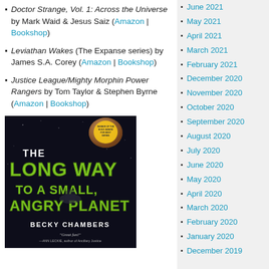Doctor Strange, Vol. 1: Across the Universe by Mark Waid & Jesus Saiz (Amazon | Bookshop)
Leviathan Wakes (The Expanse series) by James S.A. Corey (Amazon | Bookshop)
Justice League/Mighty Morphin Power Rangers by Tom Taylor & Stephen Byrne (Amazon | Bookshop)
[Figure (photo): Book cover of 'The Long Way to a Small, Angry Planet' by Becky Chambers. Dark space background with a planet, green stylized title text, and tagline 'Great fun!' by Ann Leckie.]
June 2021
May 2021
April 2021
March 2021
February 2021
December 2020
November 2020
October 2020
September 2020
August 2020
July 2020
June 2020
May 2020
April 2020
March 2020
February 2020
January 2020
December 2019